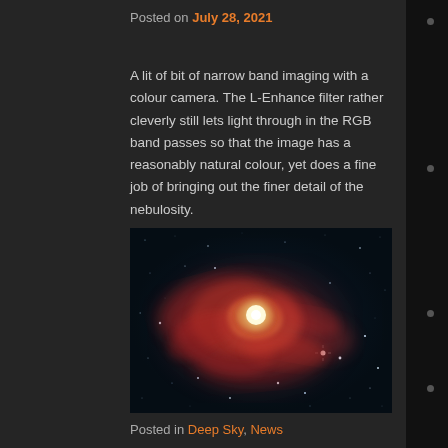Posted on July 28, 2021
A lit of bit of narrow band imaging with a colour camera. The L-Enhance filter rather cleverly still lets light through in the RGB band passes so that the image has a reasonably natural colour, yet does a fine job of bringing out the finer detail of the nebulosity.
[Figure (photo): Astrophotography image of a nebula (likely the Lagoon Nebula) showing red/pink glowing nebulosity with bright central core and surrounding star field on dark background]
Posted in Deep Sky, News